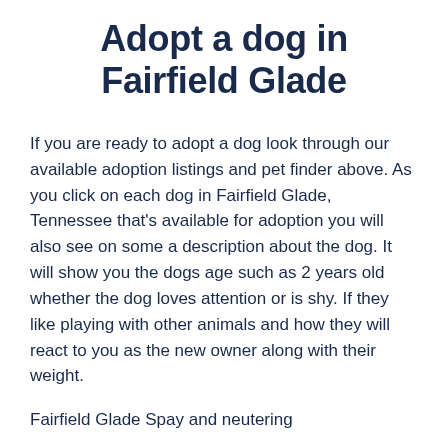Adopt a dog in Fairfield Glade
If you are ready to adopt a dog look through our available adoption listings and pet finder above. As you click on each dog in Fairfield Glade, Tennessee that's available for adoption you will also see on some a description about the dog. It will show you the dogs age such as 2 years old whether the dog loves attention or is shy. If they like playing with other animals and how they will react to you as the new owner along with their weight.
Fairfield Glade Spay and neutering